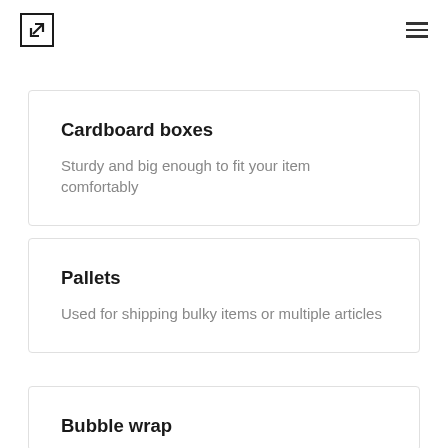Cardboard boxes
Sturdy and big enough to fit your item comfortably
Pallets
Used for shipping bulky items or multiple articles
Bubble wrap